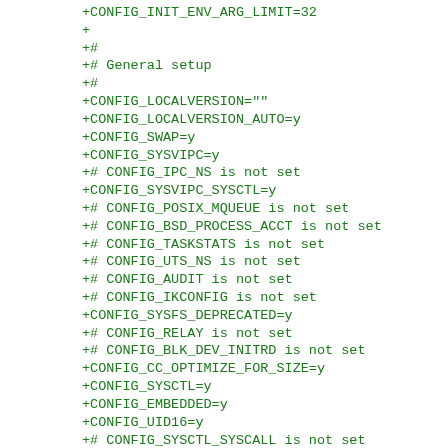+CONFIG_INIT_ENV_ARG_LIMIT=32
+
+#
+# General setup
+#
+CONFIG_LOCALVERSION=""
+CONFIG_LOCALVERSION_AUTO=y
+CONFIG_SWAP=y
+CONFIG_SYSVIPC=y
+# CONFIG_IPC_NS is not set
+CONFIG_SYSVIPC_SYSCTL=y
+# CONFIG_POSIX_MQUEUE is not set
+# CONFIG_BSD_PROCESS_ACCT is not set
+# CONFIG_TASKSTATS is not set
+# CONFIG_UTS_NS is not set
+# CONFIG_AUDIT is not set
+# CONFIG_IKCONFIG is not set
+CONFIG_SYSFS_DEPRECATED=y
+# CONFIG_RELAY is not set
+# CONFIG_BLK_DEV_INITRD is not set
+CONFIG_CC_OPTIMIZE_FOR_SIZE=y
+CONFIG_SYSCTL=y
+CONFIG_EMBEDDED=y
+CONFIG_UID16=y
+# CONFIG_SYSCTL_SYSCALL is not set
+CONFIG_KALLSYMS=y
+CONFIG_KALLSYMS_EXTRA_PASS=y
+CONFIG_HOTPLUG=y
+CONFIG_PRINTK=y
+CONFIG_BUG=y
+CONFIG_ELF_CORE=y